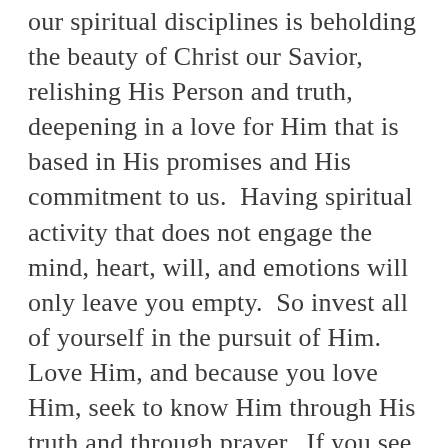our spiritual disciplines is beholding the beauty of Christ our Savior, relishing His Person and truth, deepening in a love for Him that is based in His promises and His commitment to us.  Having spiritual activity that does not engage the mind, heart, will, and emotions will only leave you empty.  So invest all of yourself in the pursuit of Him.  Love Him, and because you love Him, seek to know Him through His truth and through prayer.  If you see only a little love in your heart, feed it and make it grow through Scripture reading and prayer.  Believe what He has said to you.  Walk by faith even when your “feelings” are to the contrary.  Walk by faith, pray to Love Him, and then cultivate that love by spending time with Him.  Then